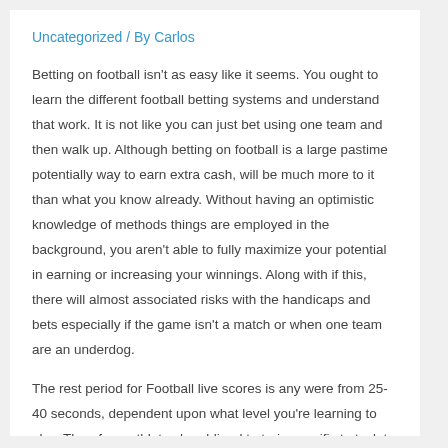Uncategorized / By Carlos
Betting on football isn't as easy like it seems. You ought to learn the different football betting systems and understand that work. It is not like you can just bet using one team and then walk up. Although betting on football is a large pastime potentially way to earn extra cash, will be much more to it than what you know already. Without having an optimistic knowledge of methods things are employed in the background, you aren't able to fully maximize your potential in earning or increasing your winnings. Along with if this, there will almost associated risks with the handicaps and bets especially if the game isn't a match or when one team are an underdog.
The rest period for Football live scores is any were from 25-40 seconds, dependent upon what level you're learning to play. Therefore, athletes be obliged to train specific to task to rest ratio. A For example from 1: 25-40 seconds work rest. The are exercises and during the that match the game of Football will be.